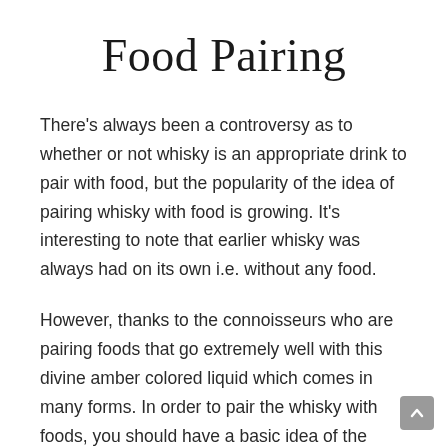Food Pairing
There's always been a controversy as to whether or not whisky is an appropriate drink to pair with food, but the popularity of the idea of pairing whisky with food is growing. It's interesting to note that earlier whisky was always had on its own i.e. without any food.
However, thanks to the connoisseurs who are pairing foods that go extremely well with this divine amber colored liquid which comes in many forms. In order to pair the whisky with foods, you should have a basic idea of the classes and types of this spirit. The flavor